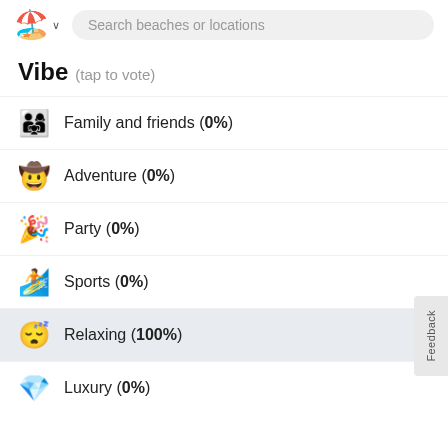🏖️ ∨  Search beaches or locations
Vibe (tap to vote)
👨‍👩‍👧 Family and friends (0%)
🤠 Adventure (0%)
🎉 Party (0%)
🏄 Sports (0%)
😴 Relaxing (100%)
💎 Luxury (0%)